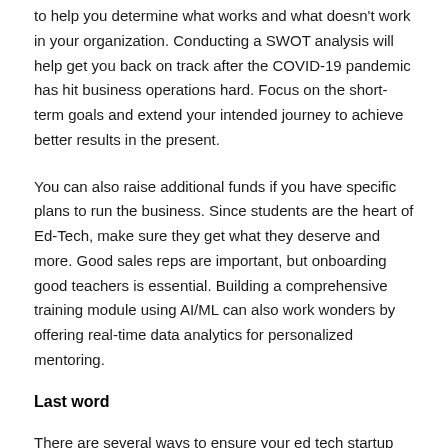to help you determine what works and what doesn't work in your organization. Conducting a SWOT analysis will help get you back on track after the COVID-19 pandemic has hit business operations hard. Focus on the short-term goals and extend your intended journey to achieve better results in the present.
You can also raise additional funds if you have specific plans to run the business. Since students are the heart of Ed-Tech, make sure they get what they deserve and more. Good sales reps are important, but onboarding good teachers is essential. Building a comprehensive training module using AI/ML can also work wonders by offering real-time data analytics for personalized mentoring.
Last word
There are several ways to ensure your ed tech startup doesn't come to an untimely end as the industry approaches a $30 billion valuation in the coming decade. One way is to ensure that the learning content and platform are user-friendly. Another way is to be aware of what makes a successful